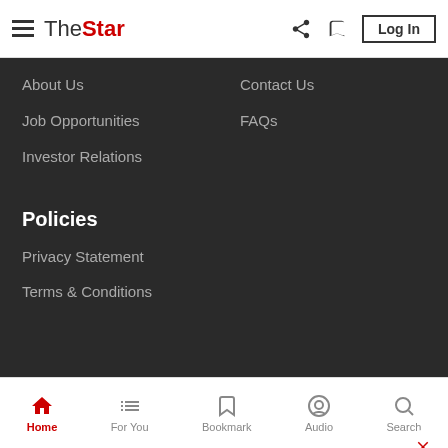The Star — Log In
About Us
Contact Us
Job Opportunities
FAQs
Investor Relations
Policies
Privacy Statement
Terms & Conditions
[Figure (infographic): Social media icons: YouTube, Instagram, Twitter, Facebook, Telegram]
50% off our Premium Plans (no ads). Use discount code:MERDEKA. >
Home | For You | Bookmark | Audio | Search